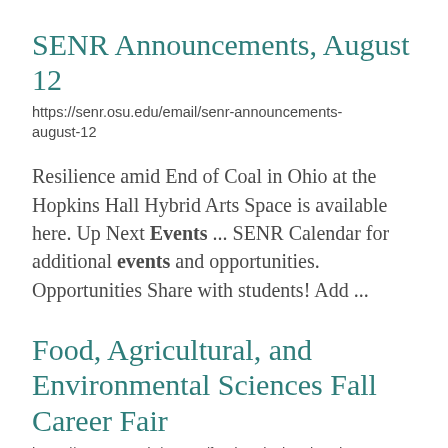SENR Announcements, August 12
https://senr.osu.edu/email/senr-announcements-august-12
Resilience amid End of Coal in Ohio at the Hopkins Hall Hybrid Arts Space is available here. Up Next Events ... SENR Calendar for additional events and opportunities. Opportunities Share with students! Add ...
Food, Agricultural, and Environmental Sciences Fall Career Fair
https://senr.osu.edu/events/food-agricultural-and-